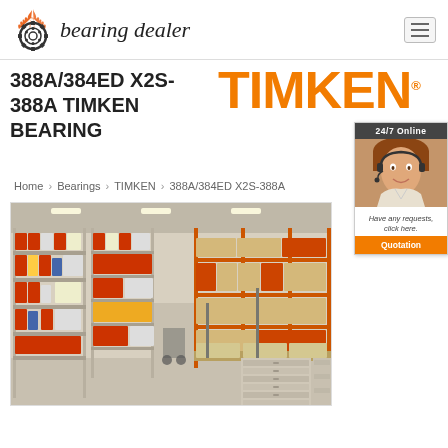bearing dealer
388A/384ED X2S-388A TIMKEN BEARING
[Figure (logo): TIMKEN brand logo in orange bold text]
Home › Bearings › TIMKEN › 388A/384ED X2S-388A
[Figure (photo): 24/7 Online customer service representative with headset smiling, with quotation button]
[Figure (photo): Warehouse interior with large shelving units filled with bearing products and boxes, industrial storage facility]